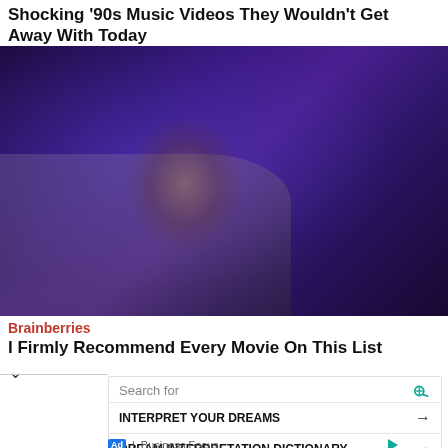Shocking '90s Music Videos They Wouldn't Get Away With Today
[Figure (photo): Person with wide eyes and dark splatter on face, wearing a dirty jacket, lit with blue-purple dramatic lighting]
Brainberries
I Firmly Recommend Every Movie On This List
Search for
INTERPRET YOUR DREAMS →
DREAM INTERPRETATION DICTIONARY →
Ad | Business Focus